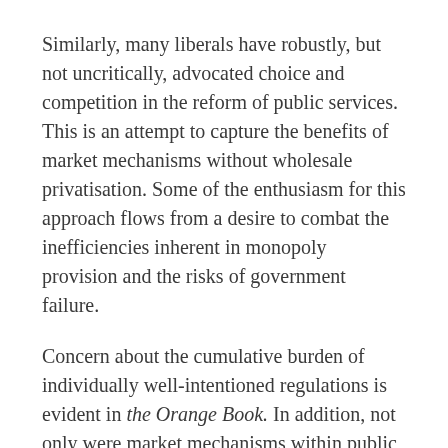Similarly, many liberals have robustly, but not uncritically, advocated choice and competition in the reform of public services. This is an attempt to capture the benefits of market mechanisms without wholesale privatisation. Some of the enthusiasm for this approach flows from a desire to combat the inefficiencies inherent in monopoly provision and the risks of government failure.
Concern about the cumulative burden of individually well-intentioned regulations is evident in the Orange Book. In addition, not only were market mechanisms within public services advocated but also manufactured markets to achieve environmental policy goals.(1) The subsequent decade has seen the embedding and extension of Better Regulation and the creation of substantial artificial markets such as the continent-wide European Emissions Trading Scheme.